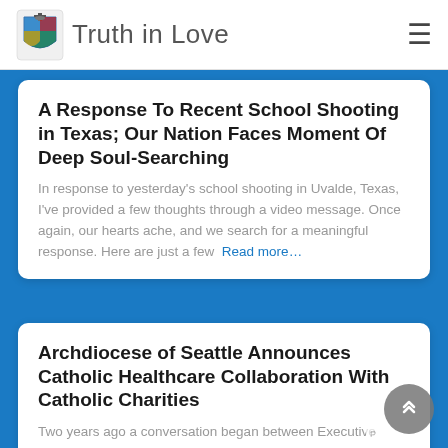Truth in Love
A Response To Recent School Shooting in Texas; Our Nation Faces Moment Of Deep Soul-Searching
In response to yesterday's school shooting in Uvalde, Texas, I've provided a few thoughts through a video message. Once again, our hearts ache, and we search for a meaningful response. Here are just a few  Read more...
Archdiocese of Seattle Announces Catholic Healthcare Collaboration With Catholic Charities
Two years ago a conversation began between Executive